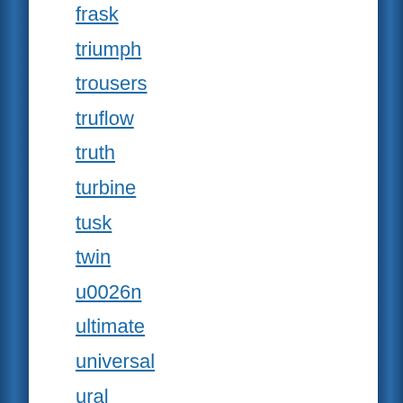frask
triumph
trousers
truflow
truth
turbine
tusk
twin
u0026n
ultimate
universal
ural
used
using